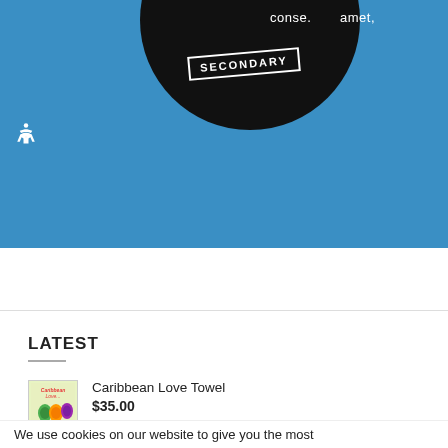[Figure (photo): Blue background with a black circle partially visible at top center. The circle has white text reading 'conse.' and 'amet,' with a white-bordered rectangle badge reading 'SECONDARY'. A blue accessibility icon button is in the upper left.]
LATEST
[Figure (photo): Small product thumbnail image for Caribbean Love Towel showing colorful eggs illustration with red Caribbean text label]
Caribbean Love Towel
$35.00
We use cookies on our website to give you the most